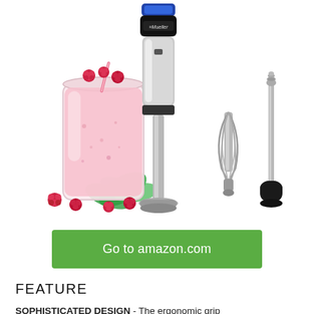[Figure (photo): Product photo of Mueller hand blender shown in center with a pink raspberry smoothie in a glass jar on the left surrounded by fresh raspberries and mint leaves, and a whisk attachment and milk frother attachment on the right, all on white background]
Go to amazon.com
FEATURE
SOPHISTICATED DESIGN - The ergonomic grip